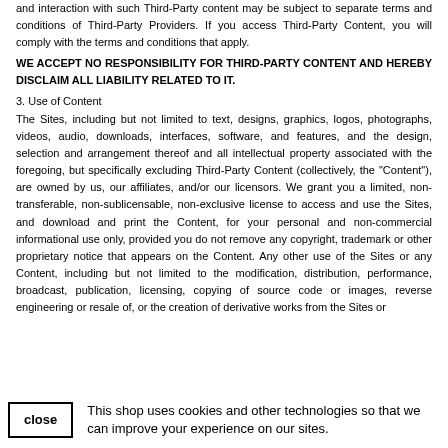and interaction with such Third-Party content may be subject to separate terms and conditions of Third-Party Providers. If you access Third-Party Content, you will comply with the terms and conditions that apply. WE ACCEPT NO RESPONSIBILITY FOR THIRD-PARTY CONTENT AND HEREBY DISCLAIM ALL LIABILITY RELATED TO IT.
3. Use of Content
The Sites, including but not limited to text, designs, graphics, logos, photographs, videos, audio, downloads, interfaces, software, and features, and the design, selection and arrangement thereof and all intellectual property associated with the foregoing, but specifically excluding Third-Party Content (collectively, the "Content"), are owned by us, our affiliates, and/or our licensors. We grant you a limited, non-transferable, non-sublicensable, non-exclusive license to access and use the Sites, and download and print the Content, for your personal and non-commercial informational use only, provided you do not remove any copyright, trademark or other proprietary notice that appears on the Content. Any other use of the Sites or any Content, including but not limited to the modification, distribution, performance, broadcast, publication, licensing, copying of source code or images, reverse engineering or resale of, or the creation of derivative works from the Sites or
This shop uses cookies and other technologies so that we can improve your experience on our sites.